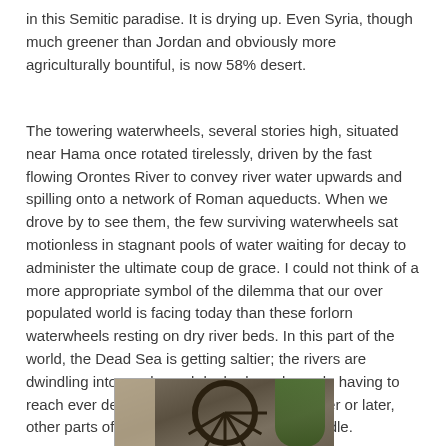in this Semitic paradise. It is drying up. Even Syria, though much greener than Jordan and obviously more agriculturally bountiful, is now 58% desert.
The towering waterwheels, several stories high, situated near Hama once rotated tirelessly, driven by the fast flowing Orontes River to convey river water upwards and spilling onto a network of Roman aqueducts. When we drove by to see them, the few surviving waterwheels sat motionless in stagnant pools of water waiting for decay to administer the ultimate coup de grace. I could not think of a more appropriate symbol of the dilemma that our over populated world is facing today than these forlorn waterwheels resting on dry river beds. In this part of the world, the Dead Sea is getting saltier; the rivers are dwindling into creeks and dry beds and people having to reach ever deeper to find ground water. Sooner or later, other parts of the world will face the same hurdle.
[Figure (photo): A large historic waterwheel (nooria) in Hama, Syria, made of dark wood, with spokes visible, surrounded by stone walls and green trees.]